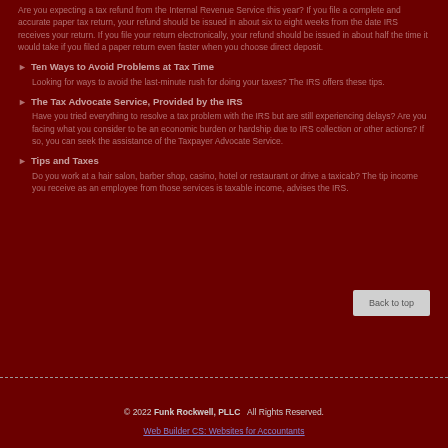Are you expecting a tax refund from the Internal Revenue Service this year? If you file a complete and accurate paper tax return, your refund should be issued in about six to eight weeks from the date IRS receives your return. If you file your return electronically, your refund should be issued in about half the time it would take if you filed a paper return even faster when you choose direct deposit.
Ten Ways to Avoid Problems at Tax Time — Looking for ways to avoid the last-minute rush for doing your taxes? The IRS offers these tips.
The Tax Advocate Service, Provided by the IRS — Have you tried everything to resolve a tax problem with the IRS but are still experiencing delays? Are you facing what you consider to be an economic burden or hardship due to IRS collection or other actions? If so, you can seek the assistance of the Taxpayer Advocate Service.
Tips and Taxes — Do you work at a hair salon, barber shop, casino, hotel or restaurant or drive a taxicab? The tip income you receive as an employee from those services is taxable income, advises the IRS.
© 2022 Funk Rockwell, PLLC  All Rights Reserved. Web Builder CS: Websites for Accountants